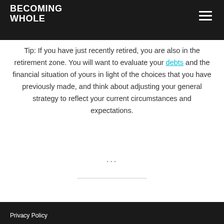BECOMING WHOLE
realize the long term consequences of the choices you make today.
Tip: If you have just recently retired, you are also in the retirement zone. You will want to evaluate your debts and the financial situation of yours in light of the choices that you have previously made, and think about adjusting your general strategy to reflect your current circumstances and expectations.
...
Privacy Policy